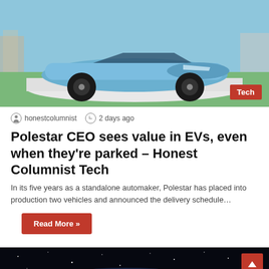[Figure (photo): Light blue electric sports car (Polestar concept) displayed on a white platform at an outdoor event, with crowd visible in background]
honestcolumnist   2 days ago
Polestar CEO sees value in EVs, even when they're parked – Honest Columnist Tech
In its five years as a standalone automaker, Polestar has placed into production two vehicles and announced the delivery schedule…
Read More »
[Figure (photo): Dark space/astronomy image showing stars and a galaxy or nebula with blue glow against black background]